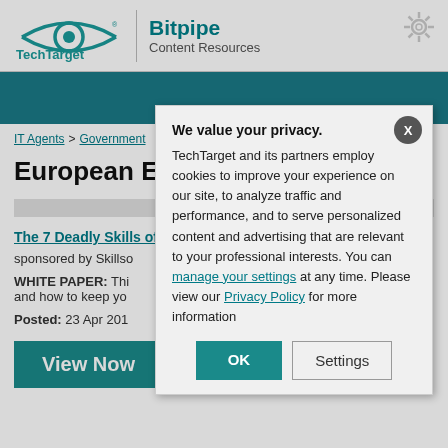[Figure (logo): TechTarget Bitpipe Content Resources logo with teal eye icon and vertical divider]
[Figure (illustration): Teal navigation/search bar]
IT Agents > Government
European Econ
The 7 Deadly Skills of
sponsored by Skillso
WHITE PAPER: This and how to keep yo
Posted: 23 Apr 201
View Now
We value your privacy. TechTarget and its partners employ cookies to improve your experience on our site, to analyze traffic and performance, and to serve personalized content and advertising that are relevant to your professional interests. You can manage your settings at any time. Please view our Privacy Policy for more information
OK
Settings